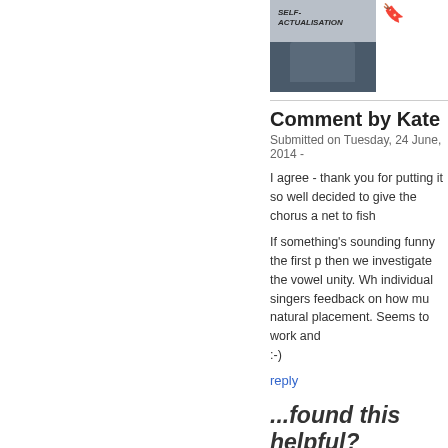[Figure (photo): Person sitting holding a sign that reads 'Self-Actualisation', wearing jeans and dark top]
Comment by Kate
Submitted on Tuesday, 24 June, 2014 -
I agree - thank you for putting it so well - decided to give the chorus a net to fish
If something's sounding funny the first p then we investigate the vowel unity. Wh individual singers feedback on how mu natural placement. Seems to work and :-)
reply
...found this helpful?
I provide this content free of charge, be wish to make a donation to the causes